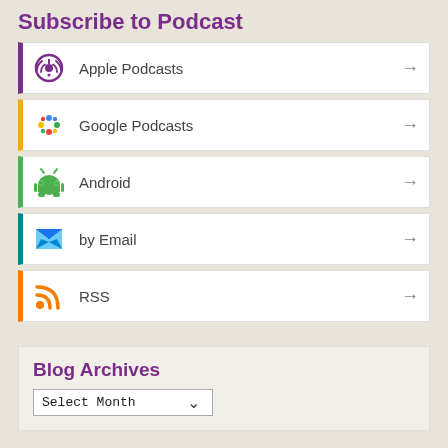Subscribe to Podcast
Apple Podcasts
Google Podcasts
Android
by Email
RSS
Blog Archives
Select Month